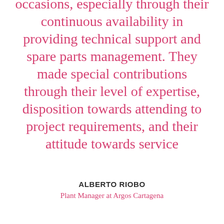occasions, especially through their continuous availability in providing technical support and spare parts management. They made special contributions through their level of expertise, disposition towards attending to project requirements, and their attitude towards service
ALBERTO RIOBO
Plant Manager at Argos Cartagena